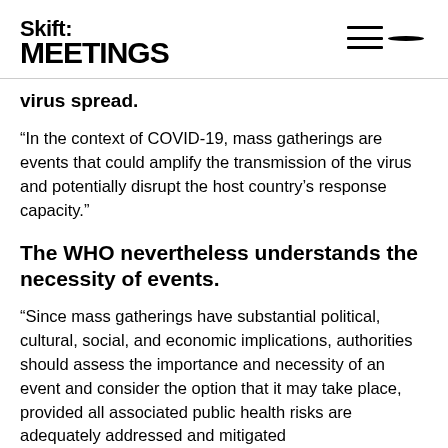Skift MEETINGS
virus spread.
“In the context of COVID-19, mass gatherings are events that could amplify the transmission of the virus and potentially disrupt the host country’s response capacity.”
The WHO nevertheless understands the necessity of events.
“Since mass gatherings have substantial political, cultural, social, and economic implications, authorities should assess the importance and necessity of an event and consider the option that it may take place, provided all associated public health risks are adequately addressed and mitigated